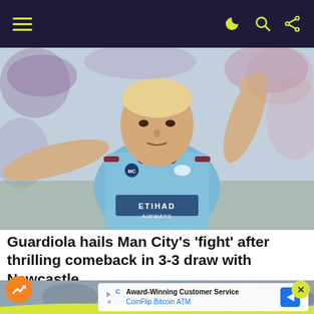Navigation bar with hamburger menu and icons
[Figure (photo): Erling Haaland in Manchester City light blue Etihad Airways kit, arms outstretched in a celebratory pose, with blurred crowd in background]
Guardiola hails Man City’s ‘fight’ after thrilling comeback in 3-3 draw with Newcastle
[Figure (infographic): Trending/advertisement banner with orange trending icon, crowd image background, yellow wave, and CoinFlip Bitcoin ATM ad with award-winning customer service text]